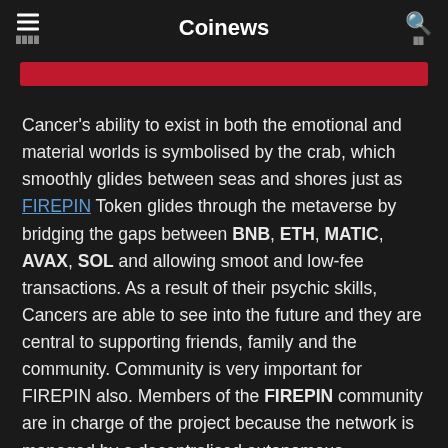Coinews
Cancer's ability to exist in both the emotional and material worlds is symbolised by the crab, which smoothly glides between seas and shores just as FIREPIN Token glides through the metaverse by bridging the gaps between BNB, ETH, MATIC, AVAX, SOL and allowing smoot and low-fee transactions. As a result of their psychic skills, Cancers are able to see into the future and they are central to supporting friends, family and the community. Community is very important for FIREPIN also. Members of the FIREPIN community are in charge of the project because the network is managed by a decentralised autonomous organisation (DAO).